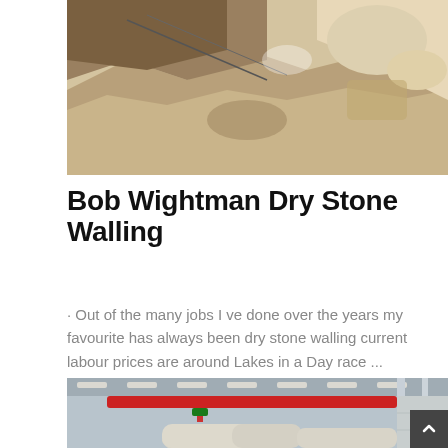[Figure (photo): A quarry or stone walling site with rocks, stone dust and equipment visible from above]
Bob Wightman Dry Stone Walling
· Out of the many jobs I ve done over the years my favourite has always been dry stone walling current labour prices are around Lakes in a Day race ...
[Figure (photo): Interior of an industrial warehouse or factory with a red overhead crane and large white pipes/equipment]